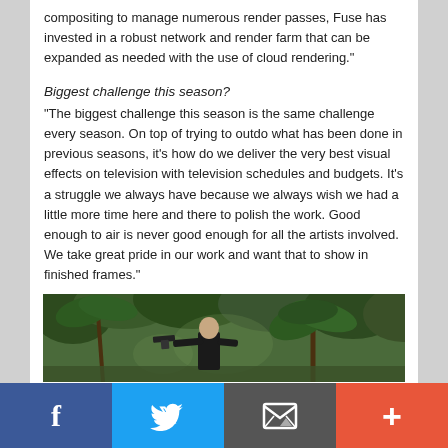compositing to manage numerous render passes, Fuse has invested in a robust network and render farm that can be expanded as needed with the use of cloud rendering."
Biggest challenge this season?
“The biggest challenge this season is the same challenge every season. On top of trying to outdo what has been done in previous seasons, it’s how do we deliver the very best visual effects on television with television schedules and budgets. It’s a struggle we always have because we always wish we had a little more time here and there to polish the work. Good enough to air is never good enough for all the artists involved. We take great pride in our work and want that to show in finished frames."
[Figure (photo): A man in black clothing pointing a gun in a jungle/forest setting with palm trees and dense foliage.]
Facebook | Twitter | Email | +